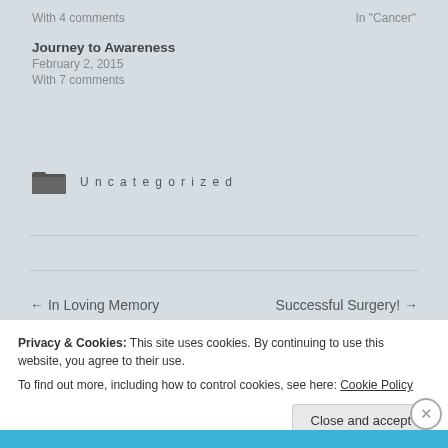With 4 comments
In "Cancer"
Journey to Awareness
February 2, 2015
With 7 comments
Uncategorized
← In Loving Memory
Successful Surgery! →
Privacy & Cookies: This site uses cookies. By continuing to use this website, you agree to their use.
To find out more, including how to control cookies, see here: Cookie Policy
Close and accept